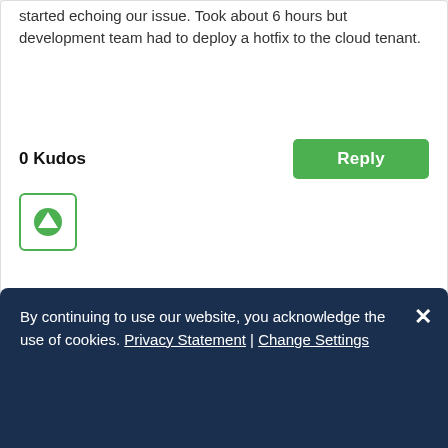started echoing our issue. Took about 6 hours but development team had to deploy a hotfix to the cloud tenant.
0 Kudos
[Figure (illustration): Green Reply button and upvote arrow icon in a green-bordered box]
In response to IT_Magician
CML_Todd Getting noticed
03-12-2021 07:43 AM
By continuing to use our website, you acknowledge the use of cookies. Privacy Statement | Change Settings